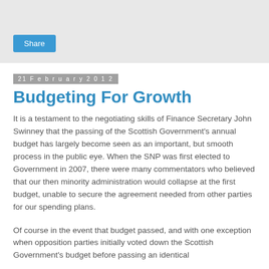[Figure (other): Gray banner area with a blue 'Share' button]
21 February 2012
Budgeting For Growth
It is a testament to the negotiating skills of Finance Secretary John Swinney that the passing of the Scottish Government's annual budget has largely become seen as an important, but smooth process in the public eye. When the SNP was first elected to Government in 2007, there were many commentators who believed that our then minority administration would collapse at the first budget, unable to secure the agreement needed from other parties for our spending plans.
Of course in the event that budget passed, and with one exception when opposition parties initially voted down the Scottish Government's budget before passing an identical